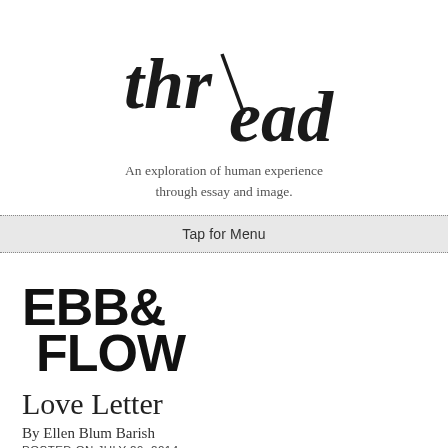[Figure (logo): Thread magazine logo in large serif/display typeface with stylized letterforms]
An exploration of human experience through essay and image.
Tap for Menu
[Figure (logo): EBB & FLOW section logo in bold display typeface]
Love Letter
By Ellen Blum Barish
POSTED ON JULY 29, 2014